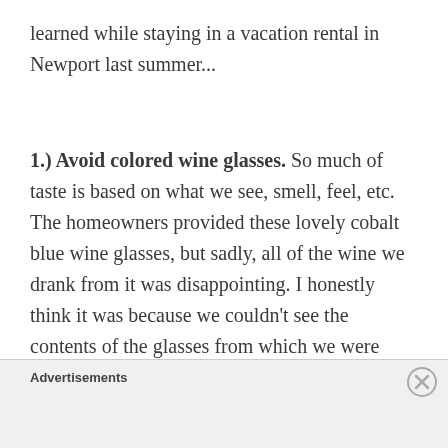learned while staying in a vacation rental in Newport last summer...
1.) Avoid colored wine glasses. So much of taste is based on what we see, smell, feel, etc. The homeowners provided these lovely cobalt blue wine glasses, but sadly, all of the wine we drank from it was disappointing. I honestly think it was because we couldn't see the contents of the glasses from which we were drinking. You couldn't really even tell if it was red or white wine you were quaffing!
Advertisements